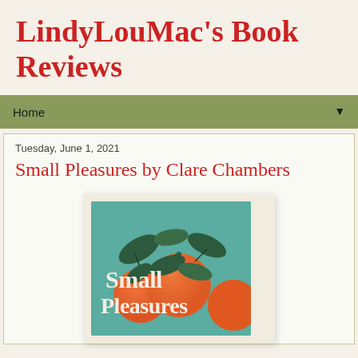LindyLouMac's Book Reviews
Home
Tuesday, June 1, 2021
Small Pleasures by Clare Chambers
[Figure (illustration): Book cover of 'Small Pleasures' featuring orange citrus fruits with dark green leaves on a teal/blue-green background, with the title text 'Small Pleasures' in bold white serif font.]